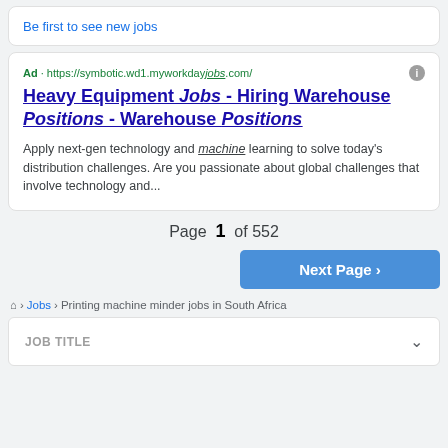Be first to see new jobs
Ad · https://symbotic.wd1.myworkdayjobs.com/
Heavy Equipment Jobs - Hiring Warehouse Positions - Warehouse Positions
Apply next-gen technology and machine learning to solve today's distribution challenges. Are you passionate about global challenges that involve technology and...
Page 1 of 552
Next Page ›
🏠 › Jobs › Printing machine minder jobs in South Africa
JOB TITLE